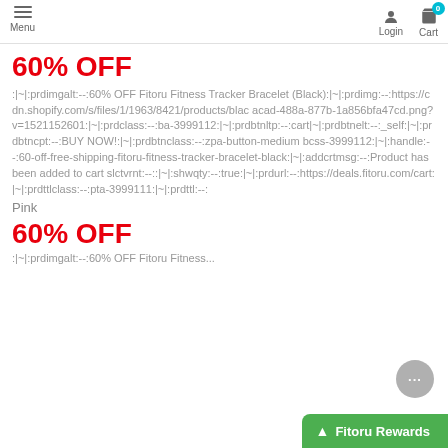Menu | Login | Cart 0
60% OFF
:|~|:prdimgalt:--:60% OFF Fitoru Fitness Tracker Bracelet (Black):|~|:prdimg:--:https://cdn.shopify.com/s/files/1/1963/8421/products/blac acad-488a-877b-1a856bfa47cd.png?v=1521152601:|~|:prdclass:--:ba-3999112:|~|:prdbtnltp:--:cart|~|:prdbtnelt:--:_self:|~|:prdbtncpt:--:BUY NOW!:|~|:prdbtnclass:--:zpa-button-medium bcss-3999112:|~|:handle:--:60-off-free-shipping-fitoru-fitness-tracker-bracelet-black:|~|:addcrtmsg:--:Product has been added to cart slctvrnt:--::|~|:shwqty:--:true:|~|:prdurl:--:https://deals.fitoru.com/cart:|~|:prdttlclass:--:pta-3999111:|~|:prdttl:--:
Pink
60% OFF
:|~|:prdimgalt:--:60% OFF Fitoru Fitness...